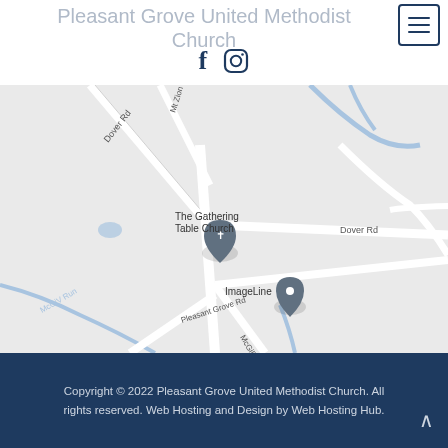Pleasant Grove United Methodist Church
[Figure (map): Google Maps view showing The Gathering Table Church and ImageLine location markers near Dover Rd, Mt Zion Rd, Pleasant Grove Rd, McGill Run, and McGill Rd intersections.]
Copyright © 2022 Pleasant Grove United Methodist Church. All rights reserved. Web Hosting and Design by Web Hosting Hub.